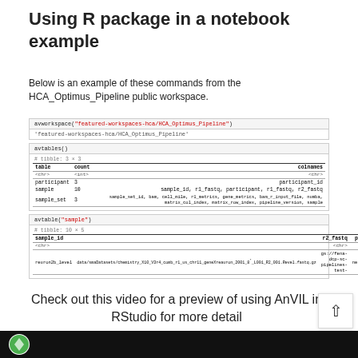Using R package in a notebook example
Below is an example of these commands from the HCA_Optimus_Pipeline public workspace.
[Figure (screenshot): Screenshot of R console output showing avworkspace() and avtables() commands with table output listing participant, sample, and sample_set entries with columns.]
Check out this video for a preview of using AnVIL in RStudio for more detail
[Figure (screenshot): Bottom strip showing video thumbnail with green logo on black background.]